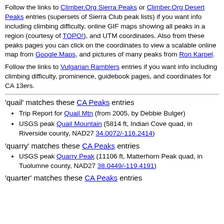Follow the links to Climber.Org Sierra Peaks or Climber.Org Desert Peaks entries (supersets of Sierra Club peak lists) if you want info including climbing difficulty, online GIF maps showing all peaks in a region (courtesy of TOPO!), and UTM coordinates. Also from these peaks pages you can click on the coordinates to view a scalable online map from Google Maps, and pictures of many peaks from Ron Karpel.
Follow the links to Vulgarian Ramblers entries if you want info including climbing difficulty, prominence, guidebook pages, and coordinates for CA 13ers.
'quail' matches these CA Peaks entries
Trip Report for Quail Mtn (from 2005, by Debbie Bulger)
USGS peak Quail Mountain (5814 ft, Indian Cove quad, in Riverside county, NAD27 34.0072/-116.2414)
'quarry' matches these CA Peaks entries
USGS peak Quarry Peak (11106 ft, Matterhorn Peak quad, in Tuolumne county, NAD27 38.0449/-119.4191)
'quarter' matches these CA Peaks entries